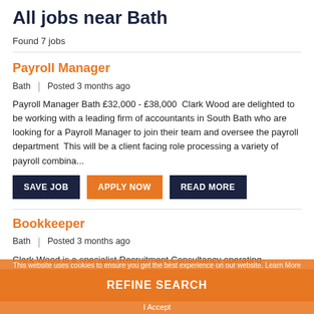All jobs near Bath
Found 7 jobs
Payroll Manager
Bath | Posted 3 months ago
Payroll Manager Bath £32,000 - £38,000  Clark Wood are delighted to be working with a leading firm of accountants in South Bath who are looking for a Payroll Manager to join their team and oversee the payroll department  This will be a client facing role processing a variety of payroll combina...
SAVE JOB
APPLY NOW
READ MORE
Bookkeeper
Bath | Posted 3 months ago
Clark Wood is a specialist Recruitment Consultancy operating ranging from Big 4, Top 10 & Mid-Tier firms through to independent
This website uses cookies to ensure you get the best experience on our website. Learn More
REFINE SEARCH
I Accept